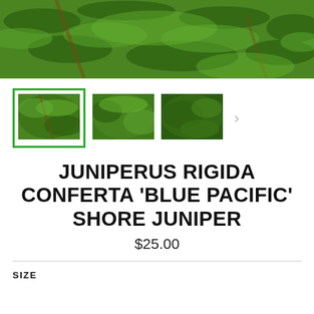[Figure (photo): Main banner photo of juniper plant foliage, green needle-like leaves close-up]
[Figure (photo): Thumbnail gallery row showing three close-up photos of Shore Juniper plant foliage. First thumbnail is selected with green border. A right arrow navigation button is visible.]
JUNIPERUS RIGIDA CONFERTA 'BLUE PACIFIC' SHORE JUNIPER
$25.00
SIZE